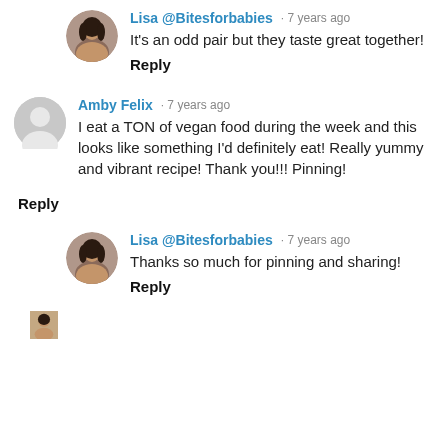[Figure (photo): Small circular avatar photo of Lisa, a woman with dark hair]
Lisa @Bitesforbabies · 7 years ago
It's an odd pair but they taste great together!
Reply
[Figure (illustration): Gray placeholder avatar silhouette for Amby Felix]
Amby Felix · 7 years ago
I eat a TON of vegan food during the week and this looks like something I'd definitely eat! Really yummy and vibrant recipe! Thank you!!! Pinning!
Reply
[Figure (photo): Small circular avatar photo of Lisa, a woman with dark hair]
Lisa @Bitesforbabies · 7 years ago
Thanks so much for pinning and sharing!
Reply
[Figure (photo): Partial avatar photo visible at bottom of page]